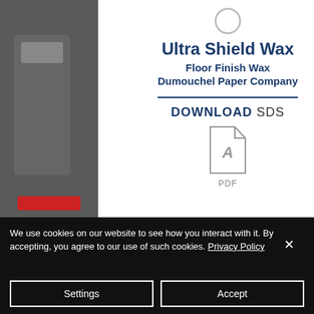[Figure (screenshot): Background photo of product containers/bottles, blurred, with date text '2/03/31' visible on right side]
Ultra Shield Wax
Floor Finish Wax
Dumouchel Paper Company
DOWNLOAD SDS
[Figure (illustration): PDF file icon with acrobat symbol]
We use cookies on our website to see how you interact with it. By accepting, you agree to our use of such cookies. Privacy Policy
Settings
Accept